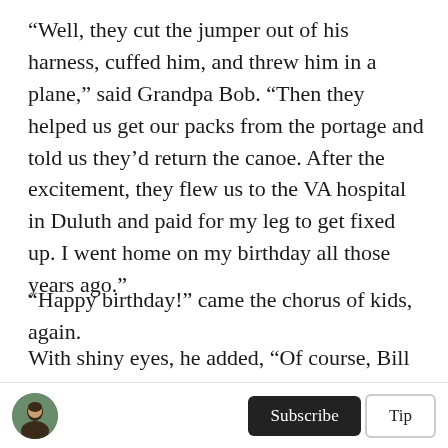“Well, they cut the jumper out of his harness, cuffed him, and threw him in a plane,” said Grandpa Bob. “Then they helped us get our packs from the portage and told us they’d return the canoe. After the excitement, they flew us to the VA hospital in Duluth and paid for my leg to get fixed up. I went home on my birthday all those years ago.”
“Happy birthday!” came the chorus of kids, again.
With shiny eyes, he added, “Of course, Bill and I also had the block of cash we’d already found at the portage. So we ended up using the money to start
[Figure (photo): Small circular avatar photo of a person]
Subscribe  Tip